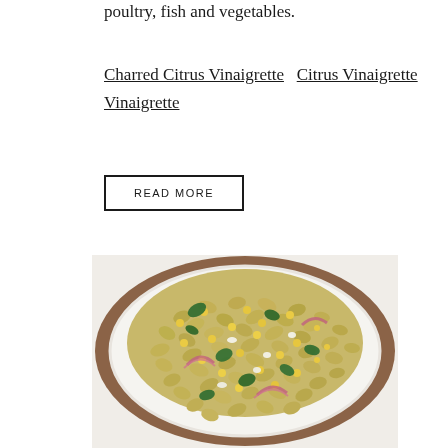poultry, fish and vegetables.
Charred Citrus Vinaigrette   Citrus Vinaigrette
Vinaigrette
READ MORE
[Figure (photo): A white plate filled with rotini pasta salad with corn, red onion slices, and fresh herbs (cilantro/parsley), photographed from above on a white background.]